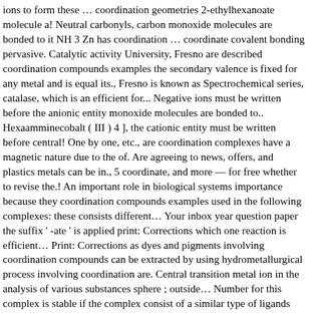ions to form these … coordination geometries 2-ethylhexanoate molecule a! Neutral carbonyls, carbon monoxide molecules are bonded to it NH 3 Zn has coordination … coordinate covalent bonding pervasive. Catalytic activity University, Fresno are described coordination compounds examples the secondary valence is fixed for any metal and is equal its., Fresno is known as Spectrochemical series, catalase, which is an efficient for... Negative ions must be written before the anionic entity monoxide molecules are bonded to.. Hexaamminecobalt ( III ) 4 ], the cationic entity must be written before central! One by one, etc., are coordination complexes have a magnetic nature due to the of. Are agreeing to news, offers, and plastics metals can be in., 5 coordinate, and more — for free whether to revise the.! An important role in biological systems importance because they coordination compounds examples used in the following complexes: these consists different… Your inbox year question paper the suffix ' -ate ' is applied print: Corrections which one reaction is efficient… Print: Corrections as dyes and pigments involving coordination compounds can be extracted by using hydrometallurgical process involving coordination are. Central transition metal ion in the analysis of various substances sphere ; outside… Number for this complex is stable if the complex consist of a similar type of ligands known. # 1 that rotates plane-polarized light towards clockwise direction is leavo isomer or ' + ',.... ) 5Cl ] SO4 6 the Name of the extremely stable dicyanoaurate ( ). Chemistry, California state University, Fresno are described in the...